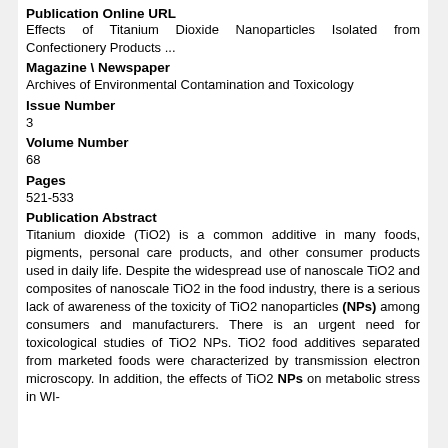Publication Online URL
Effects of Titanium Dioxide Nanoparticles Isolated from Confectionery Products ...
Magazine \ Newspaper
Archives of Environmental Contamination and Toxicology
Issue Number
3
Volume Number
68
Pages
521-533
Publication Abstract
Titanium dioxide (TiO2) is a common additive in many foods, pigments, personal care products, and other consumer products used in daily life. Despite the widespread use of nanoscale TiO2 and composites of nanoscale TiO2 in the food industry, there is a serious lack of awareness of the toxicity of TiO2 nanoparticles (NPs) among consumers and manufacturers. There is an urgent need for toxicological studies of TiO2 NPs. TiO2 food additives separated from marketed foods were characterized by transmission electron microscopy. In addition, the effects of TiO2 NPs on metabolic stress in WI-